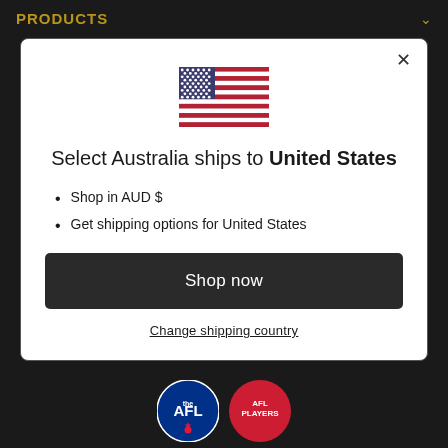PRODUCTS
[Figure (screenshot): US flag emoji]
Select Australia ships to United States
Shop in AUD $
Get shipping options for United States
Shop now
Change shipping country
[Figure (logo): AFL and AFL Players logos at bottom]